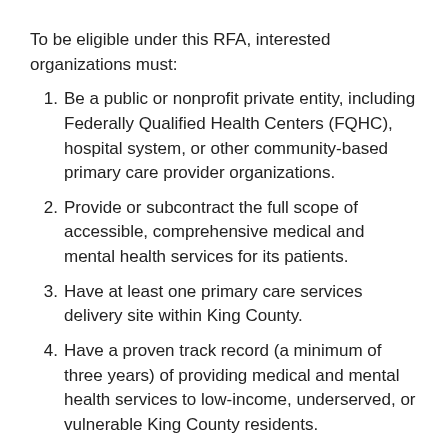To be eligible under this RFA, interested organizations must:
Be a public or nonprofit private entity, including Federally Qualified Health Centers (FQHC), hospital system, or other community-based primary care provider organizations.
Provide or subcontract the full scope of accessible, comprehensive medical and mental health services for its patients.
Have at least one primary care services delivery site within King County.
Have a proven track record (a minimum of three years) of providing medical and mental health services to low-income, underserved, or vulnerable King County residents.
Demonstrate in the RFA their ability to meet all